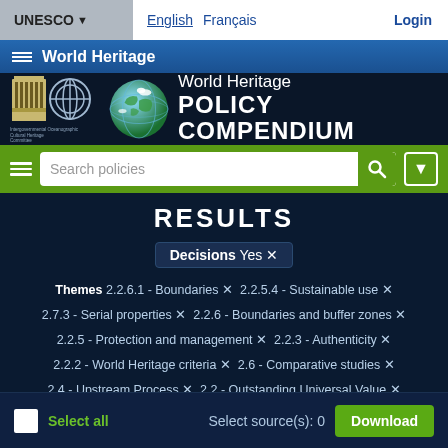UNESCO ▾   English  Français   Login
≡ World Heritage
[Figure (screenshot): World Heritage Policy Compendium banner with globe icon and UNESCO logos]
[Figure (screenshot): Search bar with Search policies input and green background]
RESULTS
Decisions Yes ×
Themes 2.2.6.1 - Boundaries × 2.2.5.4 - Sustainable use × 2.7.3 - Serial properties × 2.2.6 - Boundaries and buffer zones × 2.2.5 - Protection and management × 2.2.3 - Authenticity × 2.2.2 - World Heritage criteria × 2.6 - Comparative studies × 2.4 - Upstream Process × 2.2 - Outstanding Universal Value ×
☐ Select all   Select source(s): 0   Download